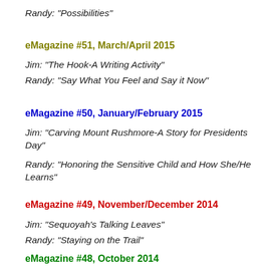Randy: “Possibilities”
eMagazine #51, March/April 2015
Jim: “The Hook-A Writing Activity”
Randy: “Say What You Feel and Say it Now”
eMagazine #50, January/February 2015
Jim: “Carving Mount Rushmore-A Story for Presidents Day”
Randy: “Honoring the Sensitive Child and How She/He Learns”
eMagazine #49, November/December 2014
Jim: “Sequoyah’s Talking Leaves”
Randy: “Staying on the Trail”
eMagazine #48, October 2014